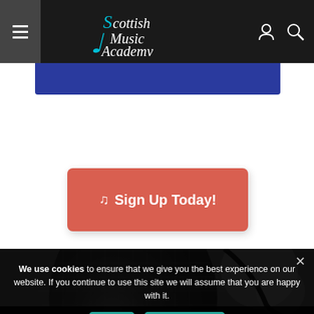Scottish Music Academy
[Figure (screenshot): Red button with music note icon and text 'Sign Up Today!']
[Figure (photo): Black and white close-up photo of a microphone]
We use cookies to ensure that we give you the best experience on our website. If you continue to use this site we will assume that you are happy with it.
Ok | Privacy policy